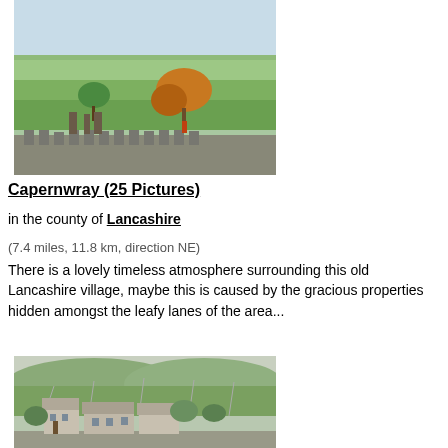[Figure (photo): Aerial view of a Lancashire countryside with green fields, trees with autumn foliage, and a stone building with battlements in the foreground]
Capernwray (25 Pictures)
in the county of Lancashire
(7.4 miles, 11.8 km, direction NE)
There is a lovely timeless atmosphere surrounding this old Lancashire village, maybe this is caused by the gracious properties hidden amongst the leafy lanes of the area...
[Figure (photo): A stone farmhouse and cottages set in a green hilly Lancashire landscape with dry stone walls]